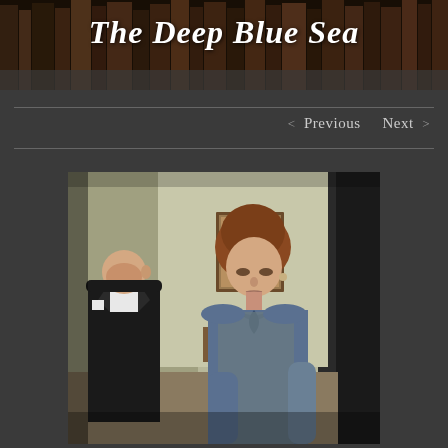[Figure (photo): Header background image showing old leather-bound books on a shelf, dark warm tones]
The Deep Blue Sea
< Previous   Next >
[Figure (photo): Theatre production photo showing a woman in a blue dress with a bow tie looking downward, and a man in formal black suit with white collar standing in the background, set in a period interior room]